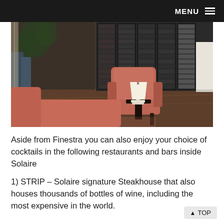MENU
[Figure (photo): Interior of a restaurant/bar with orange velvet armchairs, a small lamp on a dark side table, and a large glass wine wall displaying thousands of bottles in the background. Marble flooring visible.]
Aside from Finestra you can also enjoy your choice of cocktails in the following restaurants and bars inside Solaire
1) STRIP – Solaire signature Steakhouse that also houses thousands of bottles of wine, including the most expensive in the world.
▲ TOP